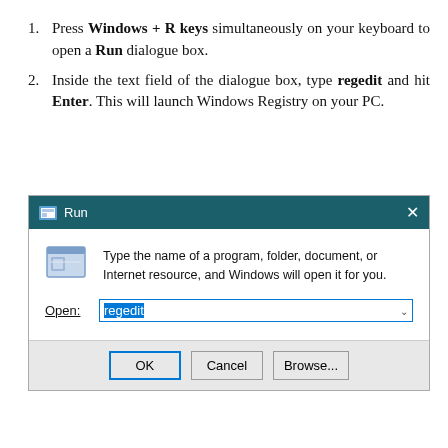Press Windows + R keys simultaneously on your keyboard to open a Run dialogue box.
Inside the text field of the dialogue box, type regedit and hit Enter. This will launch Windows Registry on your PC.
[Figure (screenshot): Windows Run dialog box with 'regedit' typed in the Open field, showing OK, Cancel, and Browse buttons]